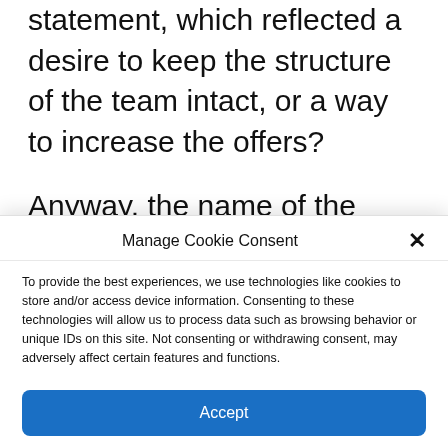statement, which reflected a desire to keep the structure of the team intact, or a way to increase the offers?
Anyway, the name of the French All-Star should come back again in the coming days, since with the approach of the Free Agency, the market should settle strongly. The
Manage Cookie Consent
To provide the best experiences, we use technologies like cookies to store and/or access device information. Consenting to these technologies will allow us to process data such as browsing behavior or unique IDs on this site. Not consenting or withdrawing consent, may adversely affect certain features and functions.
Accept
Cookie Policy